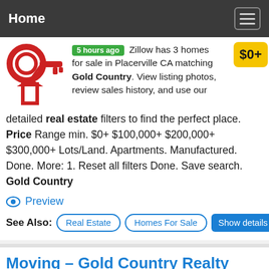Home
5 hours ago Zillow has 3 homes for sale in Placerville CA matching Gold Country. View listing photos, review sales history, and use our detailed real estate filters to find the perfect place. Price Range min. $0+ $100,000+ $200,000+ $300,000+ Lots/Land. Apartments. Manufactured. Done. More: 1. Reset all filters Done. Save search. Gold Country
Preview
See Also: Real Estate Homes For Sale Show details
Moving – Gold Country Realty
3 hours ago Gold Country Realty was established 30 years ago by Rena Mans